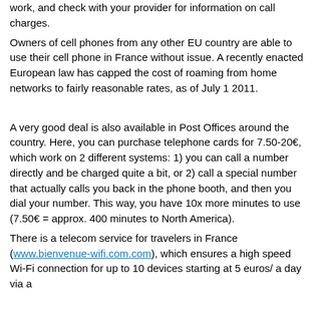work, and check with your provider for information on call charges.
Owners of cell phones from any other EU country are able to use their cell phone in France without issue. A recently enacted European law has capped the cost of roaming from home networks to fairly reasonable rates, as of July 1 2011.
A very good deal is also available in Post Offices around the country. Here, you can purchase telephone cards for 7.50-20€, which work on 2 different systems: 1) you can call a number directly and be charged quite a bit, or 2) call a special number that actually calls you back in the phone booth, and then you dial your number. This way, you have 10x more minutes to use (7.50€ = approx. 400 minutes to North America).
There is a telecom service for travelers in France (www.bienvenue-wifi.com.com), which ensures a high speed Wi-Fi connection for up to 10 devices starting at 5 euros/ a day via a "hotdeal" collection of fitness products. They be...